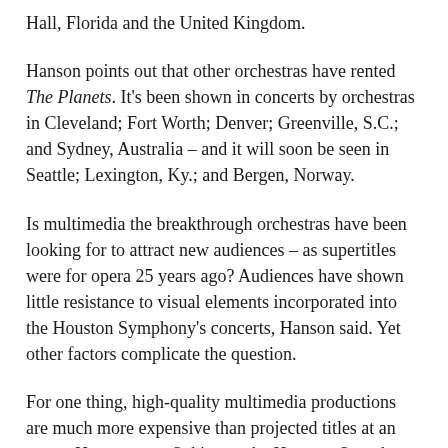Hall, Florida and the United Kingdom.
Hanson points out that other orchestras have rented The Planets. It's been shown in concerts by orchestras in Cleveland; Fort Worth; Denver; Greenville, S.C.; and Sydney, Australia – and it will soon be seen in Seattle; Lexington, Ky.; and Bergen, Norway.
Is multimedia the breakthrough orchestras have been looking for to attract new audiences – as supertitles were for opera 25 years ago? Audiences have shown little resistance to visual elements incorporated into the Houston Symphony's concerts, Hanson said. Yet other factors complicate the question.
For one thing, high-quality multimedia productions are much more expensive than projected titles at an opera. Hanson says Orbit cost the Houston Symphony a whopping $620,000 to make. However, the orchestra was able to raise $450,000 for the project and hopes to